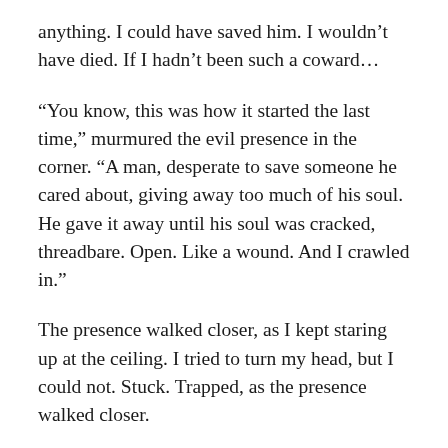anything. I could have saved him. I wouldn't have died. If I hadn't been such a coward...
“You know, this was how it started the last time,” murmured the evil presence in the corner. “A man, desperate to save someone he cared about, giving away too much of his soul. He gave it away until his soul was cracked, threadbare. Open. Like a wound. And I crawled in.”
The presence walked closer, as I kept staring up at the ceiling. I tried to turn my head, but I could not. Stuck. Trapped, as the presence walked closer.
“Betty thought she won. She thought she was safe. But she did not realize how badly you were hurt, did she? She never does. She takes it for granted that her humans will always be there, until she